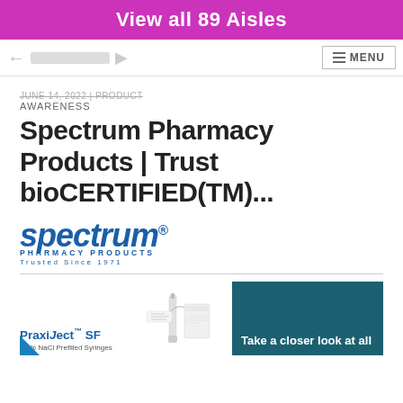View all 89 Aisles
JUNE 14, 2022 | PRODUCT AWARENESS
Spectrum Pharmacy Products | Trust bioCERTIFIED(TM)...
[Figure (logo): Spectrum Pharmacy Products logo with tagline 'Trusted Since 1971']
[Figure (photo): PraxiJect SF 0.9% NaCl Prefilled Syringes product image on left, and teal box with text 'Take a closer look at all' on right]